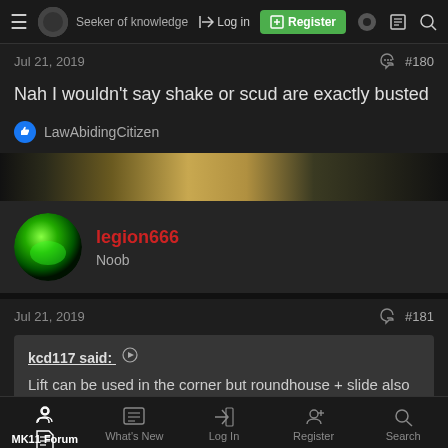Seeker of knowledge | Log in | Register
Jul 21, 2019  #180
Nah I wouldn't say shake or scud are exactly busted
LawAbidingCitizen
legion666
Noob
Jul 21, 2019  #181
kcd117 said:
Lift can be used in the corner but roundhouse + slide also gives you corner combos for good dmg.
MK11 Forum | What's New | Log In | Register | Search